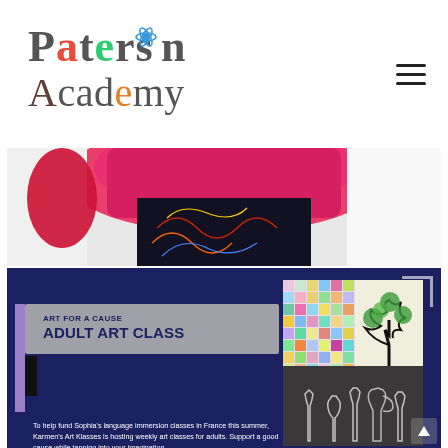[Figure (logo): Paterson Academy logo with stylized text and decorative icons integrated into letters]
[Figure (photo): Close-up photo of colorful fabric/clothing — a bright pink/red garment over dark floral-patterned fabric]
[Figure (infographic): Dark navy promotional banner for 'Art for a Cause Adult Art Class' by Karmen's Art Klasses, with class details and two artwork images. Includes mosaic tree artwork labeled 'Made by Nancy' and bottle still-life artwork.]
ART FOR A CAUSE
ADULT ART CLASS
To help fund Sophia's language immersion classes in France this summer, Karmen's Art Klasses is hosting weekly art classes for adults. Support a good cause while tapping into your imagination.
Every Sunday at 7 p.m. est
All classes are online
$15/class or $10/class for 4+
Made by Nancy